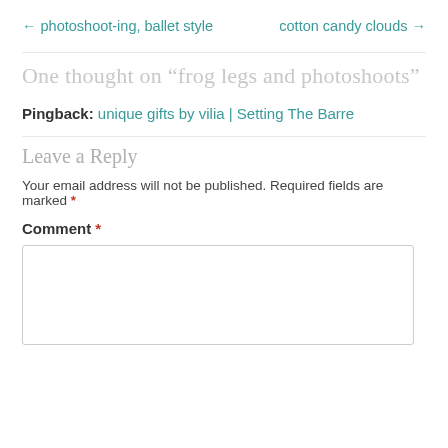← photoshoot-ing, ballet style
cotton candy clouds →
One thought on “frog legs and photoshoots”
Pingback: unique gifts by vilia | Setting The Barre
Leave a Reply
Your email address will not be published. Required fields are marked *
Comment *